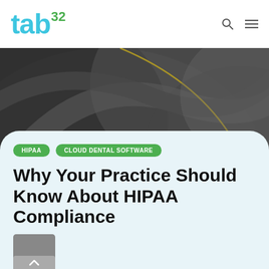tab32
[Figure (photo): Abstract dark gray and charcoal swirling background with a thin gold/yellow curved line accent, used as a decorative hero banner image.]
HIPAA  CLOUD DENTAL SOFTWARE
Why Your Practice Should Know About HIPAA Compliance
[Figure (photo): Partial view of an author avatar/headshot at the bottom left of the content card, showing a person against a gray background.]